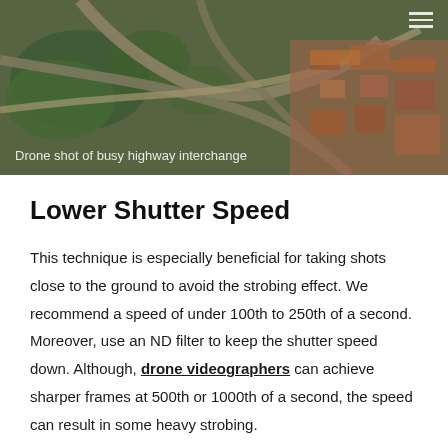[Figure (photo): Aerial drone shot of a busy highway interchange with green trees, roads, orange rooftops, and urban buildings viewed from above]
Drone shot of busy highway interchange
Lower Shutter Speed
This technique is especially beneficial for taking shots close to the ground to avoid the strobing effect. We recommend a speed of under 100th to 250th of a second. Moreover, use an ND filter to keep the shutter speed down. Although, drone videographers can achieve sharper frames at 500th or 1000th of a second, the speed can result in some heavy strobing.